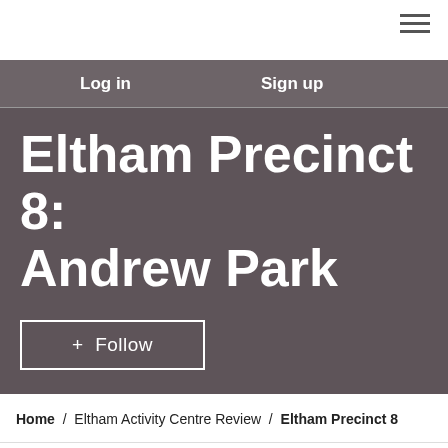Log in  Sign up
Eltham Precinct 8: Andrew Park
+ Follow
Home / Eltham Activity Centre Review / Eltham Precinct 8
Eltham: Precinct 8 Plan